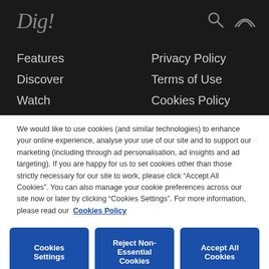Dig!
Features
Privacy Policy
Discover
Terms of Use
Watch
Cookies Policy
Listen
Cookies Settings
We would like to use cookies (and similar technologies) to enhance your online experience, analyse your use of our site and to support our marketing (including through ad personalisation, ad insights and ad targeting). If you are happy for us to set cookies other than those strictly necessary for our site to work, please click “Accept All Cookies”. You can also manage your cookie preferences across our site now or later by clicking “Cookies Settings”. For more information, please read our Cookies Policy
Cookies Settings
Reject Non-Essential Cookies
Accept All Cookies